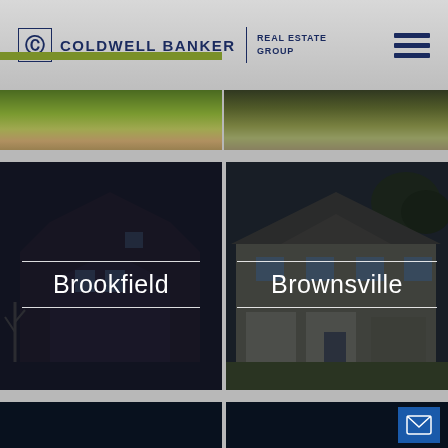[Figure (logo): Coldwell Banker Real Estate Group logo with CB icon and text]
[Figure (photo): Hamburger menu icon with three dark blue horizontal bars]
[Figure (photo): Top strip showing two aerial/street view property images side by side]
[Figure (photo): Left panel: dark overlay on house photo with 'Brookfield' text label and white horizontal lines above and below]
[Figure (photo): Right panel: dark overlay on house photo with 'Brownsville' text label and white horizontal lines above and below]
[Figure (photo): Bottom strip: two dark navy panels, right panel has blue email/envelope icon button]